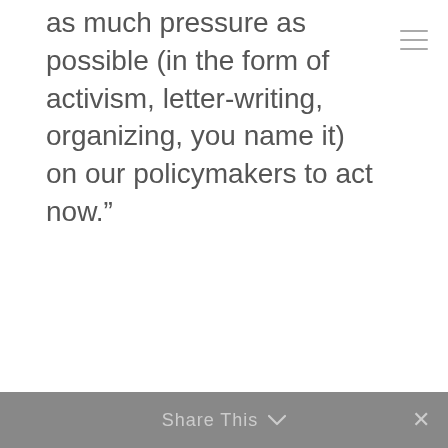as much pressure as possible (in the form of activism, letter-writing, organizing, you name it) on our policymakers to act now.”
Share This ∨  ×